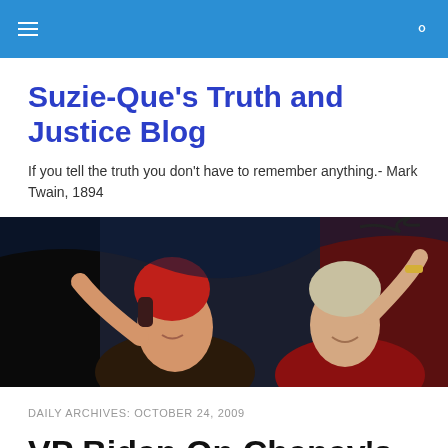Suzie-Que's Truth and Justice Blog [navigation header]
Suzie-Que's Truth and Justice Blog
If you tell the truth you don't have to remember anything.- Mark Twain, 1894
[Figure (photo): Two women on a stage, one with a red head covering waving, another in red smiling and waving]
DAILY ARCHIVES: OCTOBER 24, 2009
VP Biden On Cheney's